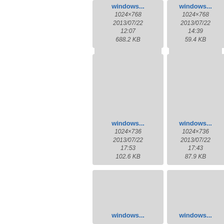[Figure (screenshot): File browser grid view showing image thumbnails with filenames 'windows...', dimensions, dates and file sizes. Partial view showing 6 file cards across 3 rows, with left portion cut off.]
windows...
1024×768
2013/07/22
12:07
688.2 KB
windows...
1024×768
2013/07/22
14:39
59.4 KB
windows...
1024×736
2013/07/22
17:53
102.6 KB
windows...
1024×736
2013/07/22
17:43
87.9 KB
windows...
windows...